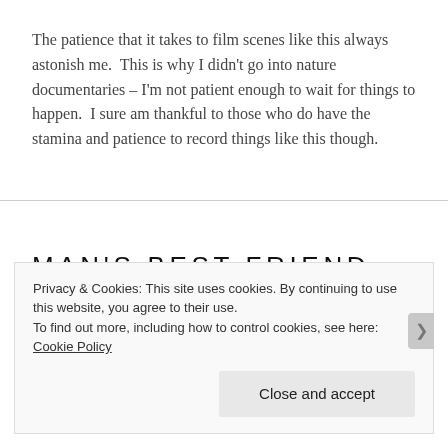The patience that it takes to film scenes like this always astonish me.  This is why I didn't go into nature documentaries – I'm not patient enough to wait for things to happen.  I sure am thankful to those who do have the stamina and patience to record things like this though.
MAN'S BEST FRIEND
July 30, 2015   Leave a comment
Privacy & Cookies: This site uses cookies. By continuing to use this website, you agree to their use.
To find out more, including how to control cookies, see here: Cookie Policy